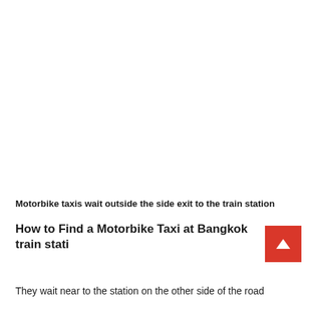Motorbike taxis wait outside the side exit to the train station
How to Find a Motorbike Taxi at Bangkok train station
They wait near to the station on the other side of the road